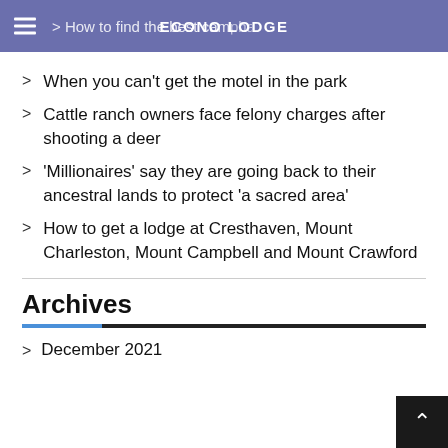ECONO LODGE | > How to find the best camphan lodge in B.C.
When you can't get the motel in the park
Cattle ranch owners face felony charges after shooting a deer
'Millionaires' say they are going back to their ancestral lands to protect 'a sacred area'
How to get a lodge at Cresthaven, Mount Charleston, Mount Campbell and Mount Crawford
Archives
December 2021